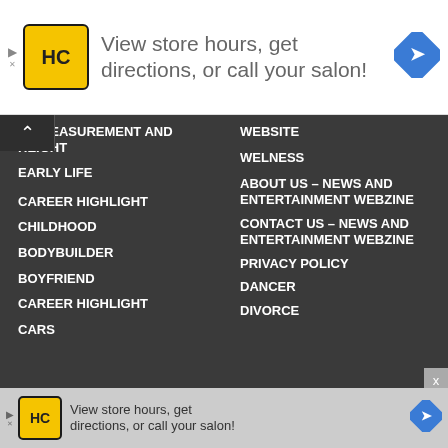[Figure (screenshot): Advertisement banner: HC logo, text 'View store hours, get directions, or call your salon!', blue navigation arrow icon]
DY MEASUREMENT AND HEIGHT
WEBSITE
WELNESS
EARLY LIFE
CAREER HIGHLIGHT
ABOUT US – NEWS AND ENTERTAINMENT WEBZINE
CHILDHOOD
CONTACT US – NEWS AND ENTERTAINMENT WEBZINE
BODYBUILDER
BOYFRIEND
PRIVACY POLICY
CAREER HIGHLIGHT
DANCER
CARS
DIVORCE
[Figure (screenshot): Advertisement banner (bottom): HC logo, text 'View store hours, get directions, or call your salon!', blue navigation arrow icon]